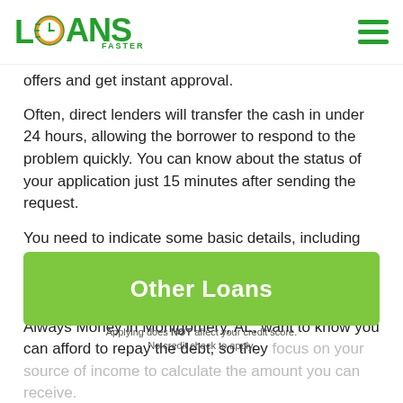LOANS FASTER [logo] [hamburger menu]
offers and get instant approval.
Often, direct lenders will transfer the cash in under 24 hours, allowing the borrower to respond to the problem quickly. You can know about the status of your application just 15 minutes after sending the request.
You need to indicate some basic details, including proof of income and contact information, to get approved. Also, your credit score doesn't have to be excellent to get the loan. Lending companies like Always Money in Montgomery, AL, want to know you can afford to repay the debt, so they focus on your source of income to calculate the amount you can receive.
[Figure (other): Green button overlay with text 'Other Loans' and disclaimer text 'Applying does NOT affect your credit score. No credit check to apply.']
Besides, you don't need collateral for most deals, as they're short-term and depend on your income. These products are